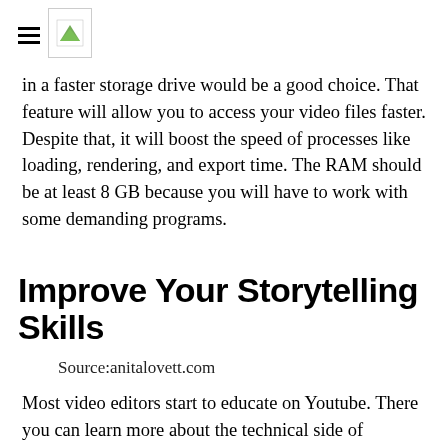[hamburger menu + logo image]
in a faster storage drive would be a good choice. That feature will allow you to access your video files faster. Despite that, it will boost the speed of processes like loading, rendering, and export time. The RAM should be at least 8 GB because you will have to work with some demanding programs.
Improve Your Storytelling Skills
Source:anitalovett.com
Most video editors start to educate on Youtube. There you can learn more about the technical side of different video editing programs. However, neither of those tutorials will show you how to be creative. Indeed, you might get the